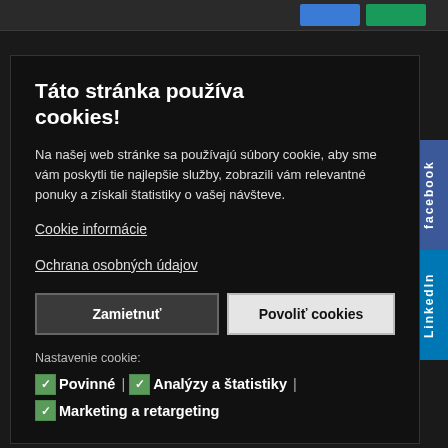Táto stránka používa cookies!
Na našej web stránke sa používajú súbory cookie, aby sme vám poskytli tie najlepšie služby, zobrazili vám relevantné ponuky a získali štatistiky o vašej návšteve.
Cookie informácie
Ochrana osobných údajov
Zamietnuť
Povoliť cookies
Nastavenie cookie:
✓Povinné | ✓Analýzy a štatistiky | ✓Marketing a retargeting